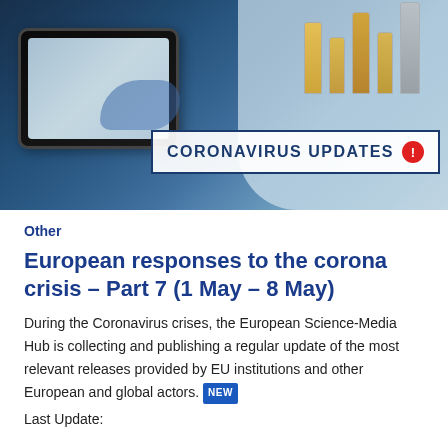[Figure (photo): Laboratory scene with a researcher in blue gloves using a tablet computer, lab equipment and bottles in background, with a 'CORONAVIRUS UPDATES' banner overlay]
Other
European responses to the corona crisis – Part 7 (1 May – 8 May)
During the Coronavirus crises, the European Science-Media Hub is collecting and publishing a regular update of the most relevant releases provided by EU institutions and other European and global actors. [NEW]
Last Update: